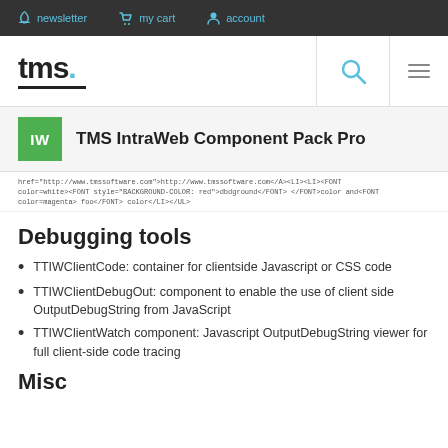newsletter  my cart  account
[Figure (logo): TMS logo with blue dot and underline, plus search and hamburger menu icons]
TMS IntraWeb Component Pack Pro
href="http://www.tmssoftware.com">http://www.tmssoftware.com</A><LI><LI><FONT color=white><FONT style="BACKGROUND-COLOR: red">dbdground</FONT> </FONT>color and<FONT color=magenta> foo</FONT> color</LI></UL>
Debugging tools
TTIWClientCode: container for clientside Javascript or CSS code
TTIWClientDebugOut: component to enable the use of client side OutputDebugString from JavaScript
TTIWClientWatch component: Javascript OutputDebugString viewer for full client-side code tracing
Misc